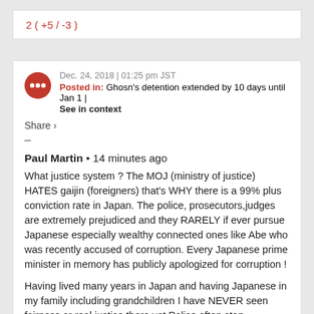2 ( +5 / -3 )
Dec. 24, 2018 | 01:25 pm JST
Posted in: Ghosn's detention extended by 10 days until Jan 1 | See in context
Share ›
–
Paul Martin • 14 minutes ago
What justice system ? The MOJ (ministry of justice) HATES gaijin (foreigners) that's WHY there is a 99% plus conviction rate in Japan. The police, prosecutors,judges are extremely prejudiced and they RARELY if ever pursue Japanese especially wealthy connected ones like Abe who was recently accused of corruption. Every Japanese prime minister in memory has publicly apologized for corruption !
Having lived many years in Japan and having Japanese in my family including grandchildren I have NEVER seen fairness or real justice there yet.Police often stop